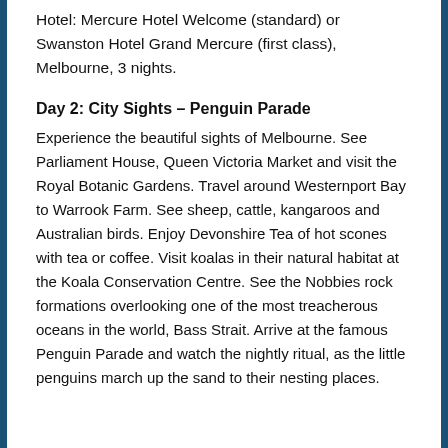Hotel: Mercure Hotel Welcome (standard) or Swanston Hotel Grand Mercure (first class), Melbourne, 3 nights.
Day 2: City Sights – Penguin Parade
Experience the beautiful sights of Melbourne. See Parliament House, Queen Victoria Market and visit the Royal Botanic Gardens. Travel around Westernport Bay to Warrook Farm. See sheep, cattle, kangaroos and Australian birds. Enjoy Devonshire Tea of hot scones with tea or coffee. Visit koalas in their natural habitat at the Koala Conservation Centre. See the Nobbies rock formations overlooking one of the most treacherous oceans in the world, Bass Strait. Arrive at the famous Penguin Parade and watch the nightly ritual, as the little penguins march up the sand to their nesting places.